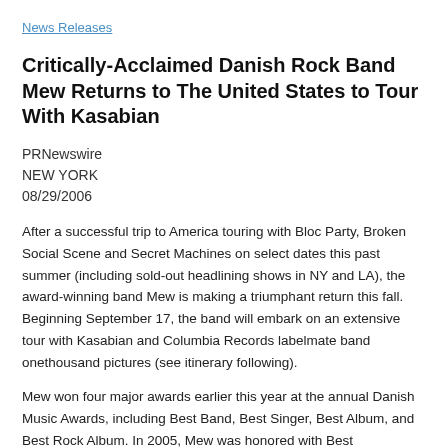News Releases
Critically-Acclaimed Danish Rock Band Mew Returns to The United States to Tour With Kasabian
PRNewswire
NEW YORK
08/29/2006
After a successful trip to America touring with Bloc Party, Broken Social Scene and Secret Machines on select dates this past summer (including sold-out headlining shows in NY and LA), the award-winning band Mew is making a triumphant return this fall. Beginning September 17, the band will embark on an extensive tour with Kasabian and Columbia Records labelmate band onethousand pictures (see itinerary following).
Mew won four major awards earlier this year at the annual Danish Music Awards, including Best Band, Best Singer, Best Album, and Best Rock Album. In 2005, Mew was honored with Best Breakthrough Act at the Nordic Music Awards. The group was also awarded with Best Album, Best Song and Best Male Singer. Because MTV has nominated...